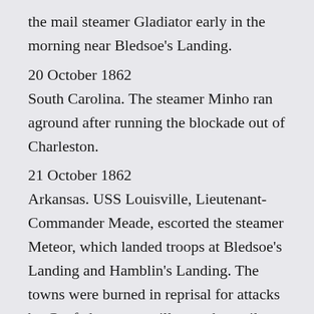the mail steamer Gladiator early in the morning near Bledsoe's Landing.
20 October 1862
South Carolina. The steamer Minho ran aground after running the blockade out of Charleston.
21 October 1862
Arkansas. USS Louisville, Lieutenant-Commander Meade, escorted the steamer Meteor, which landed troops at Bledsoe's Landing and Hamblin's Landing. The towns were burned in reprisal for attacks by Confederate guerrillas on the mail steamer Gladiator on 19 October 1862.
22 October 1862
North Carolina. USS Penobscot, Commander Clitz,